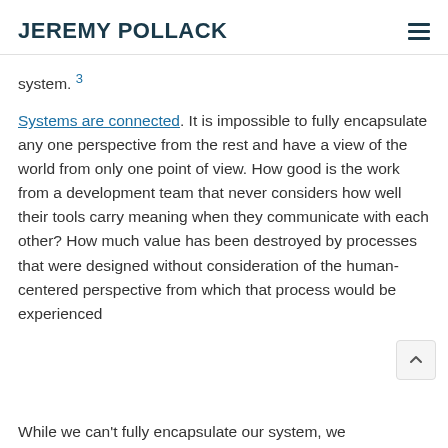JEREMY POLLACK
system. 3
Systems are connected. It is impossible to fully encapsulate any one perspective from the rest and have a view of the world from only one point of view. How good is the work from a development team that never considers how well their tools carry meaning when they communicate with each other? How much value has been destroyed by processes that were designed without consideration of the human-centered perspective from which that process would be experienced
While we can't fully encapsulate our system, we